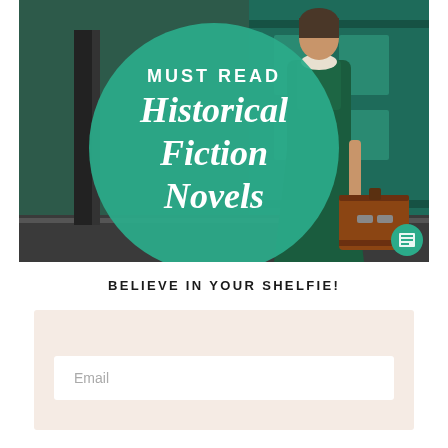[Figure (photo): A woman in a dark green dress holding a brown vintage suitcase, standing next to a green train car. A large teal circle overlay contains white text reading 'MUST READ Historical Fiction Novels'. A small teal logo badge appears in the bottom right corner.]
BELIEVE IN YOUR SHELFIE!
Email